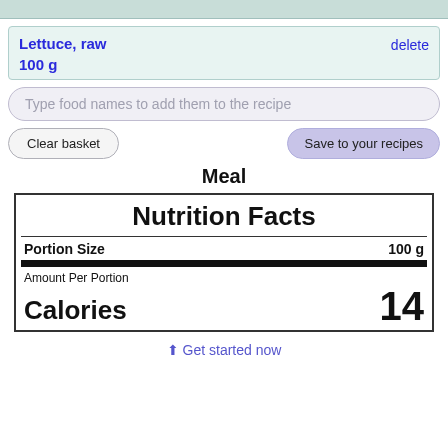Lettuce, raw
delete
100 g
Type food names to add them to the recipe
Clear basket
Save to your recipes
Meal
| Nutrition Facts |
| Portion Size | 100 g |
| Amount Per Portion |  |
| Calories | 14 |
⬆ Get started now